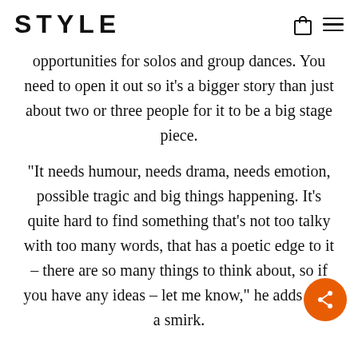STYLE
opportunities for solos and group dances. You need to open it out so it's a bigger story than just about two or three people for it to be a big stage piece.
“It needs humour, needs drama, needs emotion, possible tragic and big things happening. It’s quite hard to find something that’s not too talky with too many words, that has a poetic edge to it – there are so many things to think about, so if you have any ideas – let me know,” he adds with a smirk.